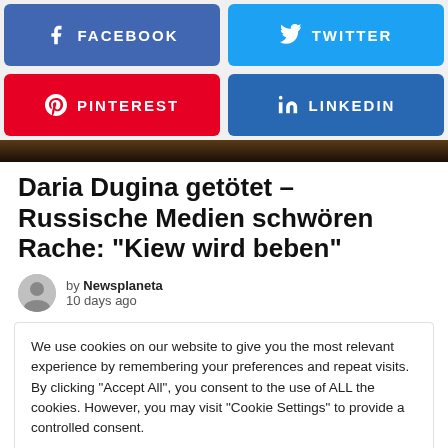[Figure (screenshot): Social share buttons row: Facebook (blue) and Twitter (light blue)]
[Figure (screenshot): Social share buttons row: Pinterest (red) and LinkedIn (blue)]
[Figure (photo): Dark image strip at top of article]
Daria Dugina getötet – Russische Medien schwören Rache: "Kiew wird beben"
by Newsplaneta
10 days ago
We use cookies on our website to give you the most relevant experience by remembering your preferences and repeat visits. By clicking "Accept All", you consent to the use of ALL the cookies. However, you may visit "Cookie Settings" to provide a controlled consent.